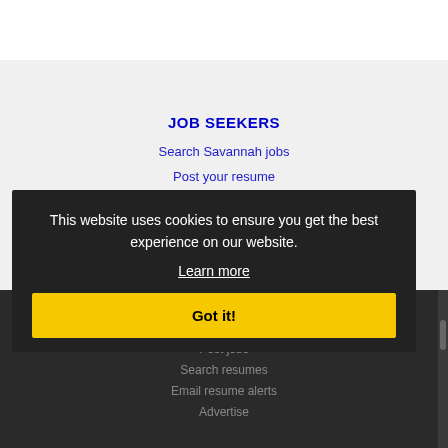JOB SEEKERS
Search Savannah jobs
Post your resume
Email job alerts
Register / Log in
EMPLOYERS
Post jobs
Search resumes
Email resume alerts
Advertise
This website uses cookies to ensure you get the best experience on our website.
Learn more
Got it!